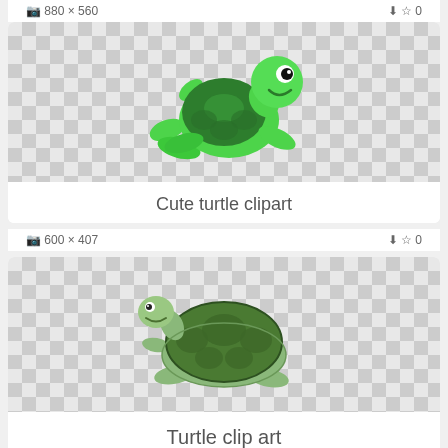880 x 560  ⬇ ☆ 0
[Figure (illustration): Cute cartoon turtle clipart with bright green color, smiling face, and decorative shell pattern on a transparent (checkered) background]
Cute turtle clipart
600 x 407  ⬇ ☆ 0
[Figure (illustration): Cartoon turtle clip art in olive/dark green with a dome-shaped shell, walking pose, on a transparent (checkered) background]
Turtle clip art
920 x 616  ⬇ ☆ 0
[Figure (illustration): Partial view of another turtle clipart at bottom of page]